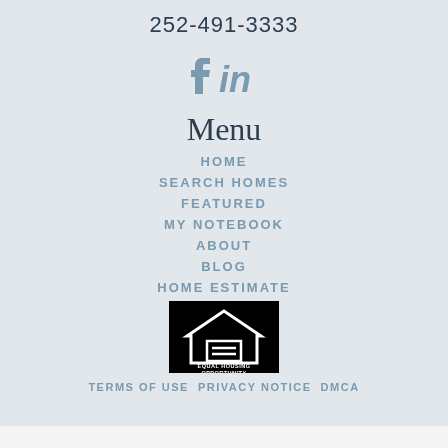252-491-3333
[Figure (illustration): Facebook and LinkedIn social media icons in muted blue-grey color]
Menu
HOME
SEARCH HOMES
FEATURED
MY NOTEBOOK
ABOUT
BLOG
HOME ESTIMATE
[Figure (logo): Equal Housing Opportunity logo — white house icon with equals sign on black background, text reads EQUAL HOUSING OPPORTUNITY]
TERMS OF USE  PRIVACY NOTICE  DMCA